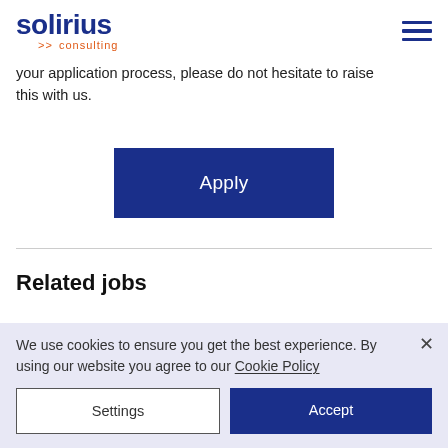solirius >> consulting
your application process, please do not hesitate to raise this with us.
[Figure (other): Blue Apply button]
Related jobs
We use cookies to ensure you get the best experience. By using our website you agree to our Cookie Policy
[Figure (other): Settings and Accept cookie consent buttons]